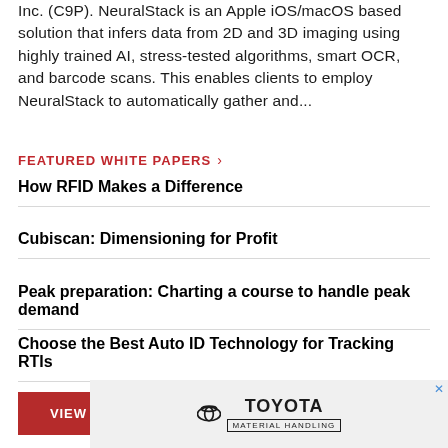Inc. (C9P). NeuralStack is an Apple iOS/macOS based solution that infers data from 2D and 3D imaging using highly trained AI, stress-tested algorithms, smart OCR, and barcode scans. This enables clients to employ NeuralStack to automatically gather and...
FEATURED WHITE PAPERS >
How RFID Makes a Difference
Cubiscan: Dimensioning for Profit
Peak preparation: Charting a course to handle peak demand
Choose the Best Auto ID Technology for Tracking RTIs
VIEW MORE
[Figure (logo): Toyota Material Handling logo with Toyota oval emblem]